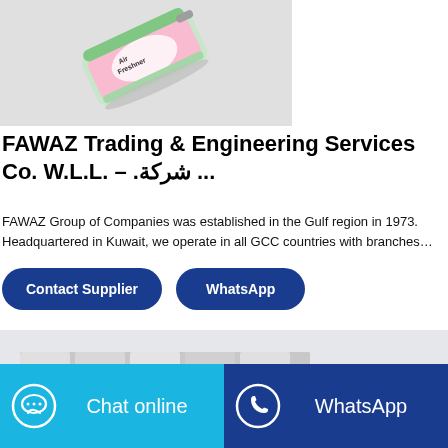[Figure (photo): Spray can air freshener product photo (Myst brand) on white/grey background]
FAWAZ Trading & Engineering Services Co. W.L.L. – .شركة ...
FAWAZ Group of Companies was established in the Gulf region in 1973.
Headquartered in Kuwait, we operate in all GCC countries with branches…
Contact Supplier
WhatsApp
[Figure (screenshot): Partial product thumbnails in a grey bar]
Chat online
WhatsApp